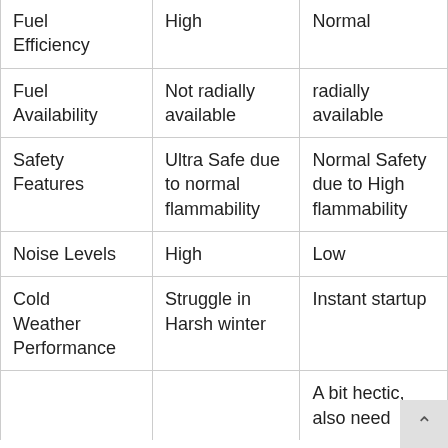| Fuel Efficiency | High | Normal |
| Fuel Availability | Not radially available | radially available |
| Safety Features | Ultra Safe due to normal flammability | Normal Safety due to High flammability |
| Noise Levels | High | Low |
| Cold Weather Performance | Struggle in Harsh winter | Instant startup |
|  |  | A bit hectic, also need |